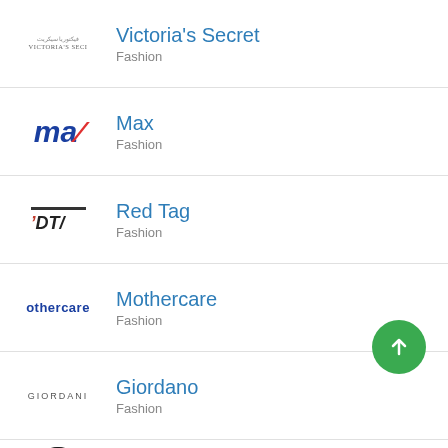Victoria's Secret — Fashion
Max — Fashion
Red Tag — Fashion
Mothercare — Fashion
Giordano — Fashion
Khaadi